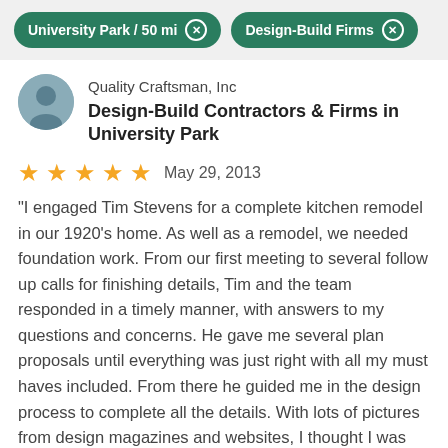University Park / 50 mi   Design-Build Firms
Quality Craftsman, Inc
Design-Build Contractors & Firms in University Park
★★★★★   May 29, 2013
“I engaged Tim Stevens for a complete kitchen remodel in our 1920's home. As well as a remodel, we needed foundation work. From our first meeting to several follow up calls for finishing details, Tim and the team responded in a timely manner, with answers to my questions and concerns. He gave me several plan proposals until everything was just right with all my must haves included. From there he guided me in the design process to complete all the details. With lots of pictures from design magazines and websites, I thought I was prepared to complete all the details. This proved to be a rather overwhelming process. But Tim always kept me on